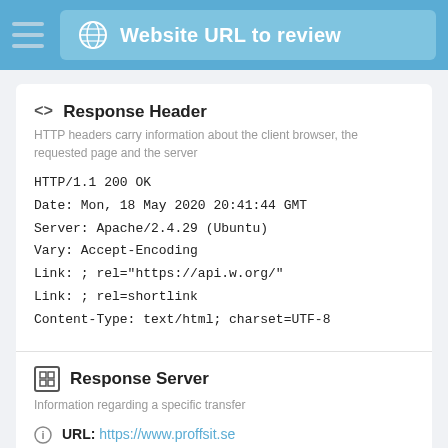Website URL to review
<> Response Header
HTTP headers carry information about the client browser, the requested page and the server
HTTP/1.1 200 OK
Date: Mon, 18 May 2020 20:41:44 GMT
Server: Apache/2.4.29 (Ubuntu)
Vary: Accept-Encoding
Link: ; rel="https://api.w.org/"
Link: ; rel=shortlink
Content-Type: text/html; charset=UTF-8
Response Server
Information regarding a specific transfer
URL: https://www.proffsit.se
Content Type: text/html; charset=UTF-8
Http Code: 200
Header Size: 266 B